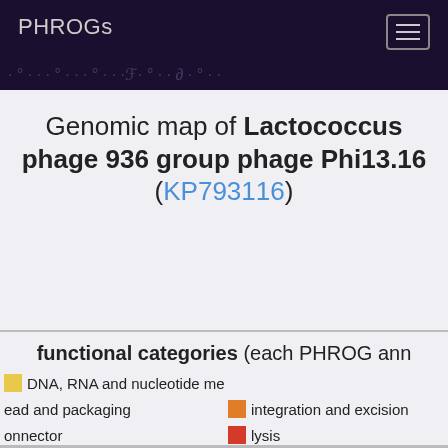PHROGs
Genomic map of Lactococcus phage 936 group phage Phi13.16 (KP793116)
functional categories (each PHROG ann…
head and packaging
DNA, RNA and nucleotide metabolism
connector
integration and excision
lysis